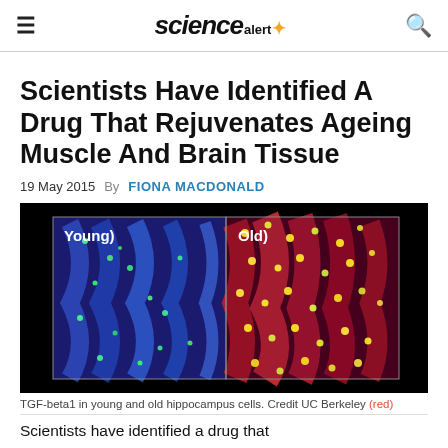sciencealert
Scientists Have Identified A Drug That Rejuvenates Ageing Muscle And Brain Tissue
19 May 2015   By FIONA MACDONALD
[Figure (photo): Fluorescence microscopy image showing TGF-beta1 in young (left, blue/green) and old (right, red/yellow) hippocampus cells. Labels 'Young)' and 'Old)' shown on the image.]
TGF-beta1 in young and old hippocampus cells. Credit UC Berkeley (red)
Scientists have identified a drug that